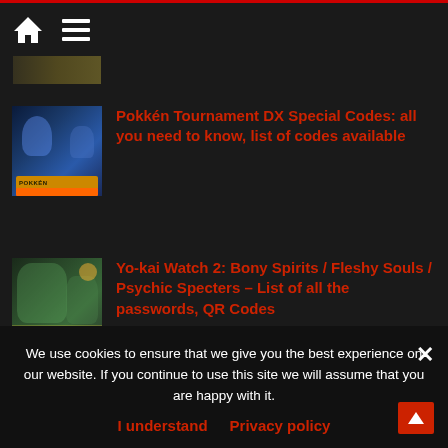Navigation header with home and menu icons
[Figure (screenshot): Partial thumbnail of a previous article]
Pokkén Tournament DX Special Codes: all you need to know, list of codes available
Yo-kai Watch 2: Bony Spirits / Fleshy Souls / Psychic Specters – List of all the passwords, QR Codes
We use cookies to ensure that we give you the best experience on our website. If you continue to use this site we will assume that you are happy with it.
I understand   Privacy policy